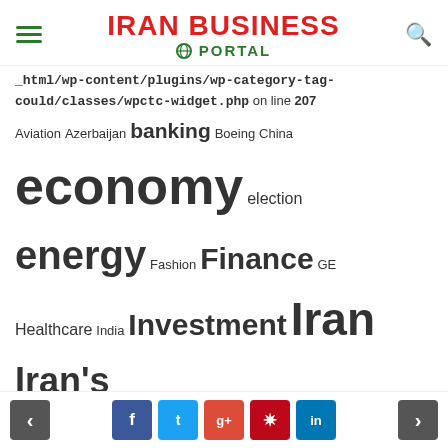IRAN BUSINESS PORTAL
_html/wp-content/plugins/wp-category-tag-could/classes/wpctc-widget.php on line 207
Aviation Azerbaijan banking Boeing China economy election energy Fashion Finance GE Healthcare India Investment Iran Iran's nuclear programme JCPOA Military NIOC Obama oil OPEC Putin Rouhani Russia sanctions Saudi solar energy South Korea Supreme Leader Tehran Tourism Trump UN US zanganeh
Categories
Agriculture
Art
< f t g+ p in >